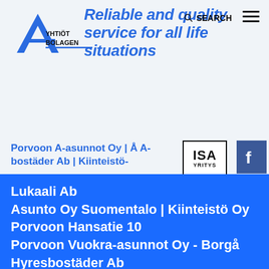[Figure (logo): A-Yhtiöt Bolagen logo with blue letter A and text]
Reliable and quality service for all life situations
SEARCH
Porvoon A-asunnot Oy | Å A- bostäder Ab | Kiinteistö-Lukaali Ab
[Figure (logo): ISA YRITYS badge logo]
Lukaali Ab
Asunto Oy Suomentalo | Kiinteistö Oy Porvoon Hansatie 10
Porvoon Vuokra-asunnot Oy - Borgå Hyresbostäder Ab